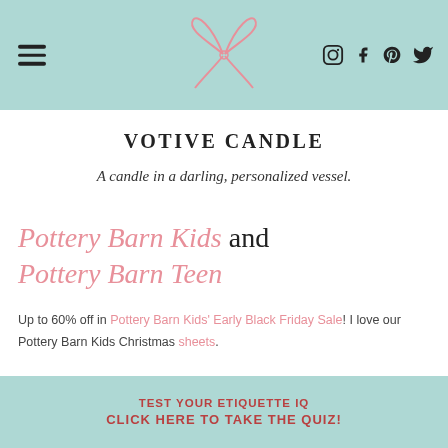VOTIVE CANDLE — blog website header with hamburger menu, bow logo, and social icons (Instagram, Facebook, Pinterest, Twitter)
VOTIVE CANDLE
A candle in a darling, personalized vessel.
Pottery Barn Kids and Pottery Barn Teen
Up to 60% off in Pottery Barn Kids' Early Black Friday Sale! I love our Pottery Barn Kids Christmas sheets.
TEST YOUR ETIQUETTE IQ
CLICK HERE TO TAKE THE QUIZ!